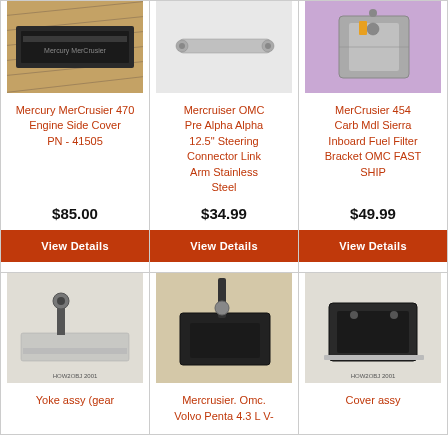[Figure (photo): Mercury MerCrusier 470 Engine Side Cover part photo on wooden floor]
Mercury MerCrusier 470 Engine Side Cover PN - 41505
$85.00
View Details
[Figure (photo): Mercruiser OMC Pre Alpha Alpha 12.5 inch Steering Connector Link Arm Stainless Steel - white background product photo]
Mercruiser OMC Pre Alpha Alpha 12.5" Steering Connector Link Arm Stainless Steel
$34.99
View Details
[Figure (photo): MerCrusier 454 Carb Mdl Sierra Inboard Fuel Filter Bracket OMC - small metal part on purple background]
MerCrusier 454 Carb Mdl Sierra Inboard Fuel Filter Bracket OMC FAST SHIP
$49.99
View Details
[Figure (photo): Yoke assy gear part photo]
Yoke assy (gear
[Figure (photo): Mercrusier Omc Volvo Penta 4.3 L V part photo]
Mercrusier. Omc. Volvo Penta 4.3 L V-
[Figure (photo): Cover assy part photo]
Cover assy